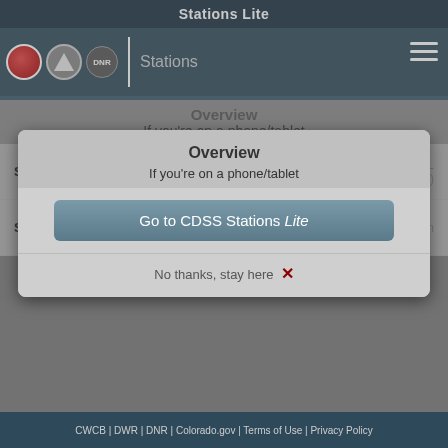Stations Lite
Stations
Overview
If you're on a phone/tablet
| Field | Value |
| --- | --- |
| Station Name | FOUR MILE CREEK NEAR HARTSEL (FOUHARCO) |
| Station Type | Stream |
Go to CDSS Stations Lite
No thanks, stay here  ✕
CWCB | DWR | DNR | Colorado.gov | Terms of Use | Privacy Policy